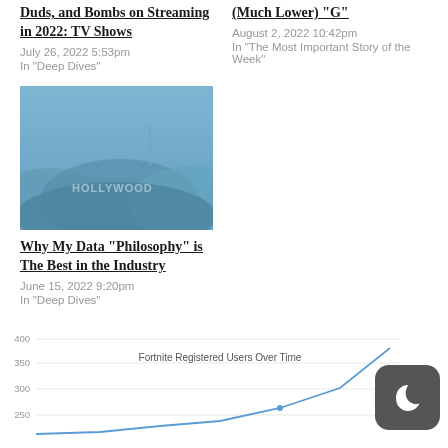Duds, and Bombs on Streaming in 2022: TV Shows
July 26, 2022 5:53pm
In "Deep Dives"
(Much Lower) "G"
August 2, 2022 10:42pm
In "The Most Important Story of the Week"
[Figure (photo): Hollywood sign in the hills with a blue hazy overlay]
Why My Data “Philosophy” is The Best in the Industry
June 15, 2022 9:20pm
In "Deep Dives"
[Figure (line-chart): Partial line chart showing Fortnite registered users over time, y-axis labels visible: 400, 350, 300, 250; line curves upward to the right]